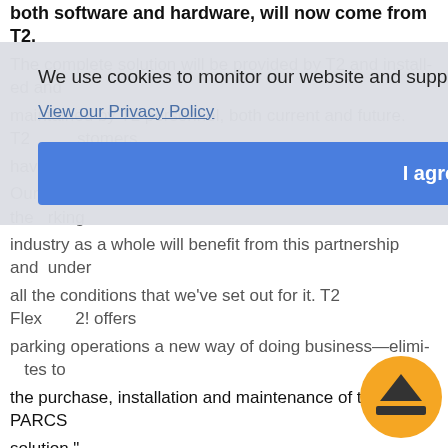both software and hardware, will now come from T2.
The complete solution will be provided by T2 and installed and ... customers ... one vendor ... parking ... under ... offers parking operations a new way of doing business—eliminates to the purchase, installation and maintenance of their PARCS solution."
[Figure (other): Cookie consent overlay with text 'We use cookies to monitor our website and support our customers.' with a 'View our Privacy Policy' link and an 'I agree' button]
The T2 Flex PARCS system incorporates web-based software and state-of the art hardware components including retail industry standard POS devices, custom-manufactured Pay-on-Foot devices, as well as vehicle barriers and many other key components.
T2 Flex is a web-based solution, enabling parking managers and facility owners to access all information about their parking operations from any computer with Internet access. T2 Flex provides revenue control functionality and reporting through an